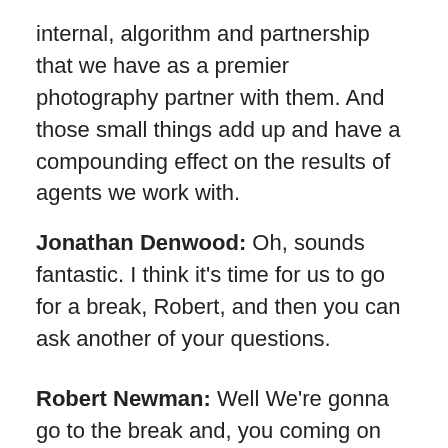internal, algorithm and partnership that we have as a premier photography partner with them. And those small things add up and have a compounding effect on the results of agents we work with.
Jonathan Denwood: Oh, sounds fantastic. I think it’s time for us to go for a break, Robert, and then you can ask another of your questions.
Robert Newman: Well We’re gonna go to the break and, you coming on the show has provided a unique opportunity and